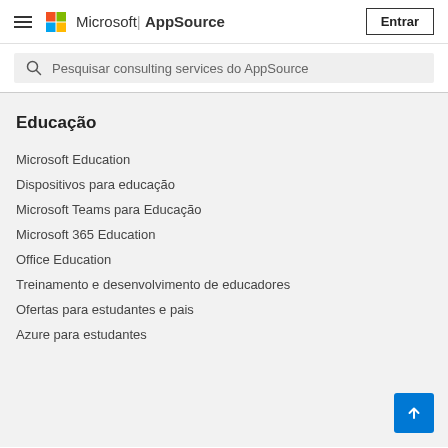Microsoft | AppSource — Entrar
Pesquisar consulting services do AppSource
Educação
Microsoft Education
Dispositivos para educação
Microsoft Teams para Educação
Microsoft 365 Education
Office Education
Treinamento e desenvolvimento de educadores
Ofertas para estudantes e pais
Azure para estudantes